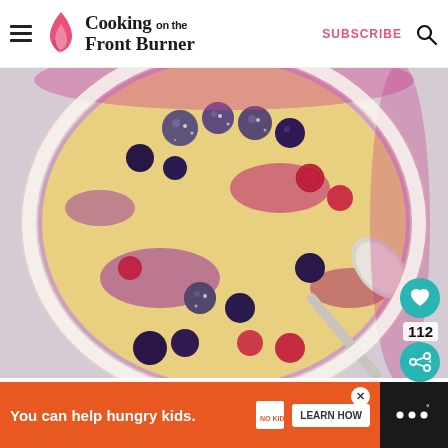Cooking on the Front Burner — SUBSCRIBE
[Figure (photo): Overhead close-up photo of a mixed berry cobbler or clafoutis in a white ceramic dish, topped with blueberries, raspberries, and strawberries dusted with powdered sugar, with a silver spoon scooping into it, berry juices pooled in the dish]
112
WHAT'S NEXT → Easy Mixed Berry Crisp
You can help hungry kids.
LEARN HOW